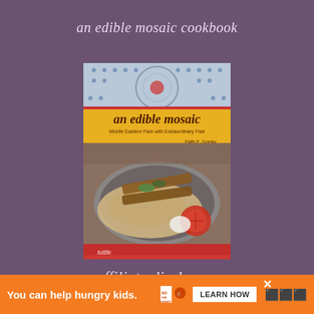an edible mosaic cookbook
[Figure (photo): Book cover of 'An Edible Mosaic: Middle Eastern Fare with Extraordinary Flair' showing grilled kebabs, flatbread, tomatoes, and onions on a plate, with decorative mosaic pattern at top. Authors: Faith E. Gorsky, Lara Enav.]
affiliate disclosure
An Edible Mosaic is monetized in part though affiliate links, and as an Amazon Associate I earn from qualifying purchases. This means that if you
[Figure (infographic): Orange advertisement banner: 'You can help hungry kids.' with No Kid Hungry logo and LEARN HOW button, with a close X button and watermark logo.]